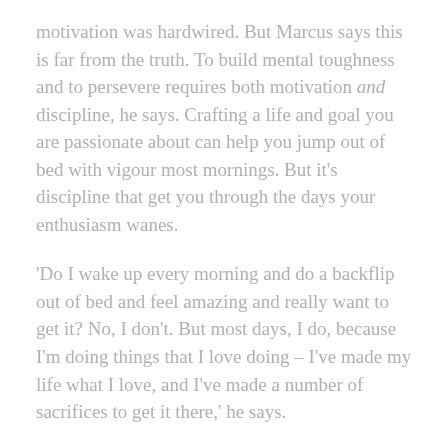motivation was hardwired. But Marcus says this is far from the truth. To build mental toughness and to persevere requires both motivation and discipline, he says. Crafting a life and goal you are passionate about can help you jump out of bed with vigour most mornings. But it’s discipline that get you through the days your enthusiasm wanes.
‘Do I wake up every morning and do a backflip out of bed and feel amazing and really want to get it? No, I don’t. But most days, I do, because I’m doing things that I love doing – I’ve made my life what I love, and I’ve made a number of sacrifices to get it there,’ he says.
And on the days you don’t feel as excited about your life? A plan is key.
‘It’s about having the discipline to sit down on a